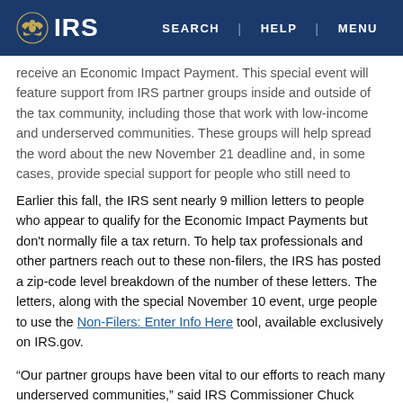IRS | SEARCH | HELP | MENU
receive an Economic Impact Payment. This special event will feature support from IRS partner groups inside and outside of the tax community, including those that work with low-income and underserved communities. These groups will help spread the word about the new November 21 deadline and, in some cases, provide special support for people who still need to register for the payments on IRS.gov.
Earlier this fall, the IRS sent nearly 9 million letters to people who appear to qualify for the Economic Impact Payments but don't normally file a tax return. To help tax professionals and other partners reach out to these non-filers, the IRS has posted a zip-code level breakdown of the number of these letters. The letters, along with the special November 10 event, urge people to use the Non-Filers: Enter Info Here tool, available exclusively on IRS.gov.
“Our partner groups have been vital to our efforts to reach many underserved communities,” said IRS Commissioner Chuck Rettig. “Already, millions of Americans have successfully used the Non-Filers portal and received their Economic Impact